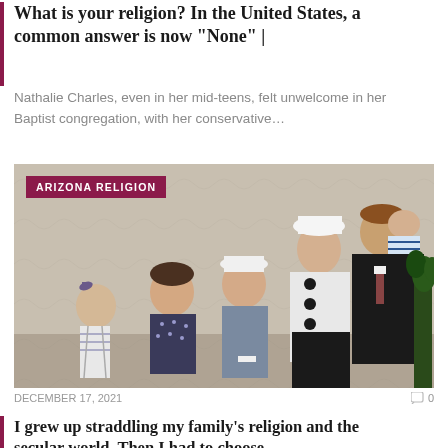What is your religion? In the United States, a common answer is now “None” |
Nathalie Charles, even in her mid-teens, felt unwelcome in her Baptist congregation, with her conservative…
[Figure (photo): Family photo showing a man holding a baby and a woman in a white hat and jacket, with three girls, posed together indoors. An 'ARIZONA RELIGION' tag is overlaid on the top-left.]
DECEMBER 17, 2021
I grew up straddling my family’s religion and the secular world. Then I had to choose.